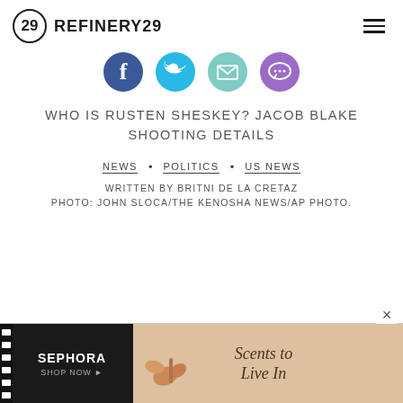REFINERY29
[Figure (illustration): Four social sharing icons in a row: Facebook (dark blue circle with 'f'), Twitter (light blue circle with bird), Email (mint/teal circle with envelope), and a purple circle with a speech bubble comment icon]
WHO IS RUSTEN SHESKEY? JACOB BLAKE SHOOTING DETAILS
NEWS  •  POLITICS  •  US NEWS
WRITTEN BY BRITNI DE LA CRETAZ
PHOTO: JOHN SLOCA/THE KENOSHA NEWS/AP PHOTO.
[Figure (advertisement): Sephora advertisement banner. Left side: black background with 'SEPHORA SHOP NOW ▶' text. Right side: beige/tan background with autumn leaves and perfume bottle, text reads 'Scents to Live In']